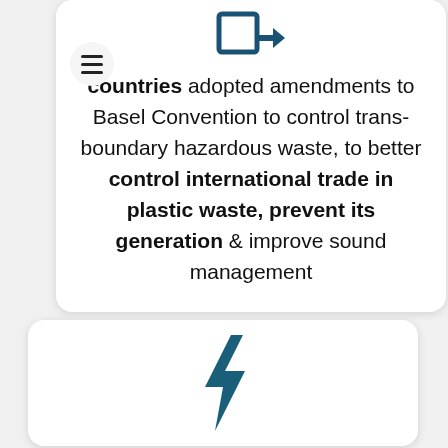[Figure (illustration): Blue icon of a document/file with an arrow pointing right, representing international trade or transfer]
countries adopted amendments to Basel Convention to control trans-boundary hazardous waste, to better control international trade in plastic waste, prevent its generation & improve sound management
[Figure (illustration): Blue lightning bolt icon]